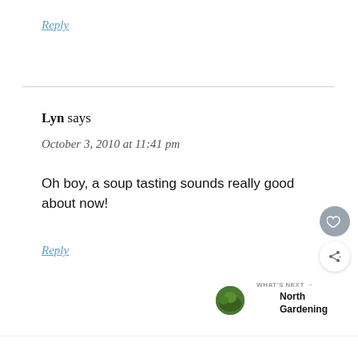Reply
Lyn says
October 3, 2010 at 11:41 pm
Oh boy, a soup tasting sounds really good about now!
Reply
[Figure (other): LOVE decorative text logo with ornate black and white lettering, small red heart accent]
×
ℳ°